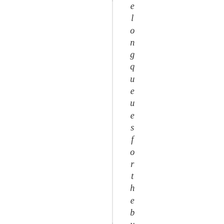elongqueues for the buses and l, mof